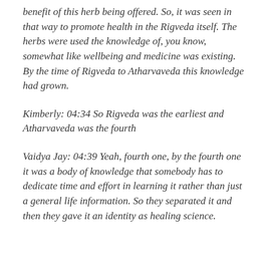benefit of this herb being offered. So, it was seen in that way to promote health in the Rigveda itself. The herbs were used the knowledge of, you know, somewhat like wellbeing and medicine was existing. By the time of Rigveda to Atharvaveda this knowledge had grown.
Kimberly: 04:34 So Rigveda was the earliest and Atharvaveda was the fourth
Vaidya Jay: 04:39 Yeah, fourth one, by the fourth one it was a body of knowledge that somebody has to dedicate time and effort in learning it rather than just a general life information. So they separated it and then they gave it an identity as healing science.